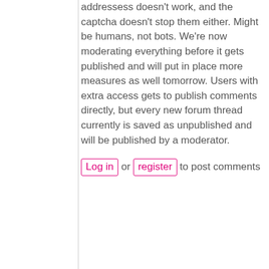addressess doesn't work, and the captcha doesn't stop them either. Might be humans, not bots. We're now moderating everything before it gets published and will put in place more measures as well tomorrow. Users with extra access gets to publish comments directly, but every new forum thread currently is saved as unpublished and will be published by a moderator.
Log in or register to post comments